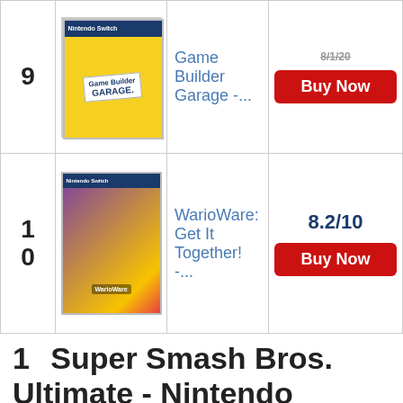| Rank | Image | Title | Score/Action |
| --- | --- | --- | --- |
| 9 | [Game Builder Garage image] | Game Builder Garage -... | [score hidden] | Buy Now |
| 10 | [WarioWare image] | WarioWare: Get It Together! -... | 8.2/10 | Buy Now |
1   Super Smash Bros. Ultimate - Nintendo Switch
[Figure (screenshot): Rank 1 product card with dark blue border and rank tab showing '1', with partial Nintendo Switch game box art for Super Smash Bros. Ultimate visible at bottom]